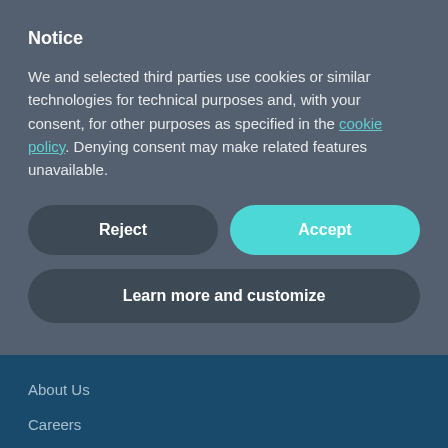Notice
We and selected third parties use cookies or similar technologies for technical purposes and, with your consent, for other purposes as specified in the cookie policy. Denying consent may make related features unavailable.
Reject
Accept
Learn more and customize
About Us
Careers
Press
Privacy Policy
Cookie Policy